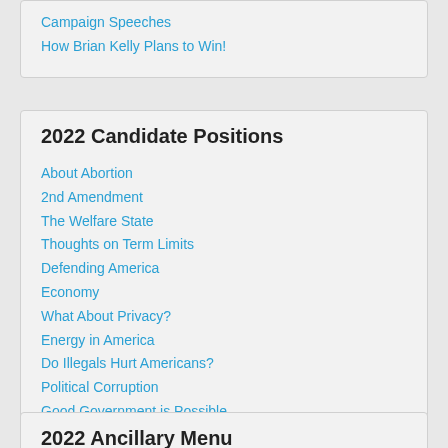Campaign Speeches
How Brian Kelly Plans to Win!
2022 Candidate Positions
About Abortion
2nd Amendment
The Welfare State
Thoughts on Term Limits
Defending America
Economy
What About Privacy?
Energy in America
Do Illegals Hurt Americans?
Political Corruption
Good Government is Possible
Bad Government is Probable
Obamacare Hurts All Americans!
Keep the Feds out of Education
2022 Ancillary Menu